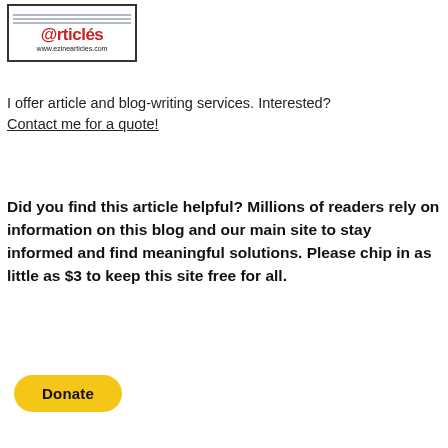[Figure (logo): EzineArticles logo with @rticles text and www.ezinearticles.com URL, bordered box with horizontal lines]
I offer article and blog-writing services. Interested? Contact me for a quote!
Did you find this article helpful? Millions of readers rely on information on this blog and our main site to stay informed and find meaningful solutions. Please chip in as little as $3 to keep this site free for all.
[Figure (other): Yellow rounded Donate button]